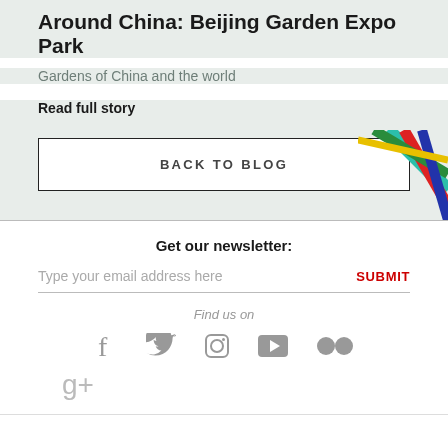Around China: Beijing Garden Expo Park
Gardens of China and the world
Read full story
BACK TO BLOG
Get our newsletter:
Type your email address here
SUBMIT
Find us on
[Figure (illustration): Social media icons: Facebook, Twitter, Instagram, YouTube, Flickr, Google+]